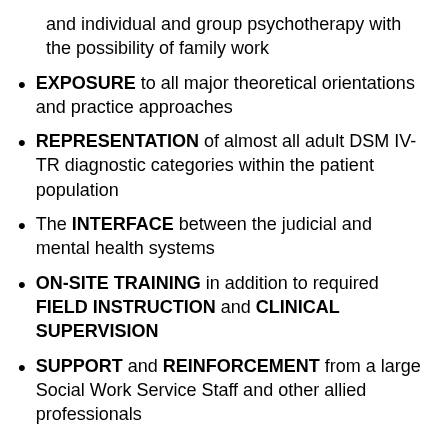and individual and group psychotherapy with the possibility of family work
EXPOSURE to all major theoretical orientations and practice approaches
REPRESENTATION of almost all adult DSM IV-TR diagnostic categories within the patient population
The INTERFACE between the judicial and mental health systems
ON-SITE TRAINING in addition to required FIELD INSTRUCTION and CLINICAL SUPERVISION
SUPPORT and REINFORCEMENT from a large Social Work Service Staff and other allied professionals